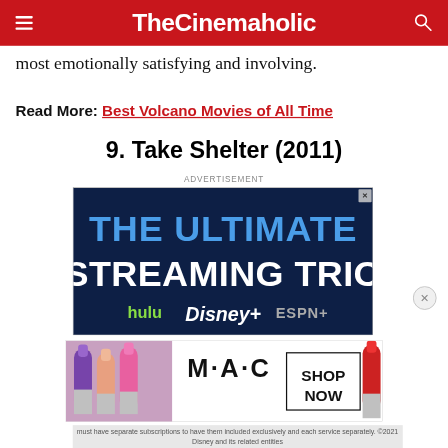TheCinemaholic
most emotionally satisfying and involving.
Read More: Best Volcano Movies of All Time
9. Take Shelter (2011)
ADVERTISEMENT
[Figure (screenshot): Advertisement banner for streaming services showing 'THE ULTIMATE STREAMING TRIO' with Hulu, Disney+, and ESPN+ logos on a dark navy background]
[Figure (screenshot): Advertisement banner for MAC cosmetics showing lipsticks and 'SHOP NOW' button]
must have separate subscriptions to have them included exclusively and each service separately. ©2021 Disney and its related entities